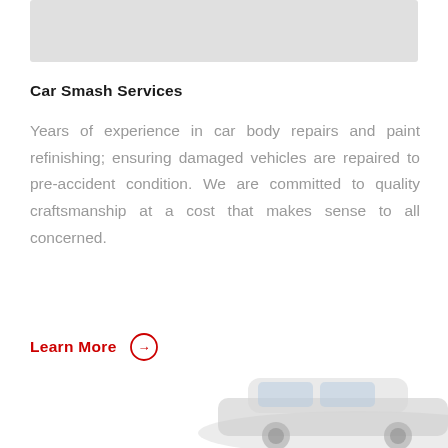[Figure (photo): Top banner image area (light grey placeholder for image)]
Car Smash Services
Years of experience in car body repairs and paint refinishing; ensuring damaged vehicles are repaired to pre-accident condition. We are committed to quality craftsmanship at a cost that makes sense to all concerned.
Learn More →
[Figure (photo): Partial view of a silver/white car in the bottom right corner]